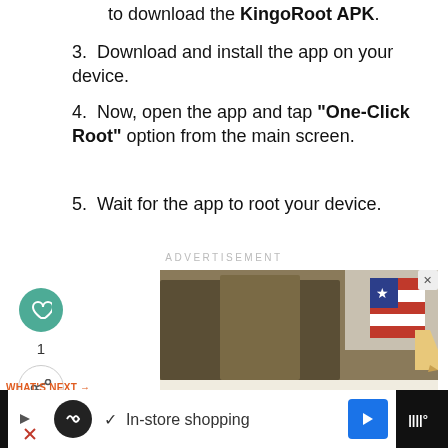to download the KingoRoot APK.
3. Download and install the app on your device.
4. Now, open the app and tap "One-Click Root" option from the main screen.
5. Wait for the app to root your device.
ADVERTISEMENT
[Figure (photo): Advertisement image showing military personnel wearing masks and gloves, with a 'Thank you!' graphic and a US flag pencil illustration. Bottom shows partial text 'SHOW THEM YOUR...']
WHAT'S NEXT → Forgot Parental...
✓  In-store shopping